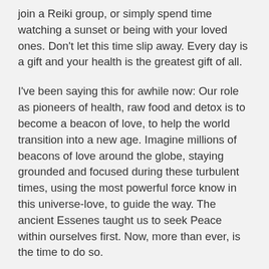join a Reiki group, or simply spend time watching a sunset or being with your loved ones. Don't let this time slip away. Every day is a gift and your health is the greatest gift of all.
I've been saying this for awhile now: Our role as pioneers of health, raw food and detox is to become a beacon of love, to help the world transition into a new age. Imagine millions of beacons of love around the globe, staying grounded and focused during these turbulent times, using the most powerful force know in this universe-love, to guide the way. The ancient Essenes taught us to seek Peace within ourselves first. Now, more than ever, is the time to do so.